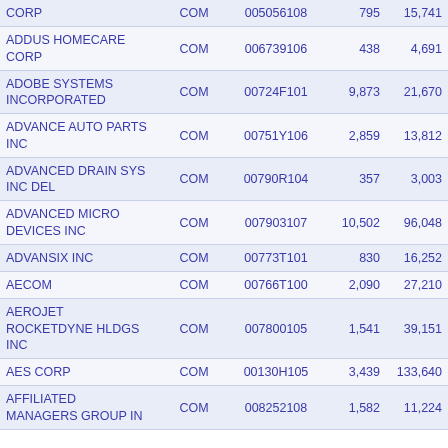| Name | Type | CUSIP | Shares | Value |
| --- | --- | --- | --- | --- |
| CORP | COM | 005056108 | 795 | 15,741 |
| ADDUS HOMECARE CORP | COM | 006739106 | 438 | 4,691 |
| ADOBE SYSTEMS INCORPORATED | COM | 00724F101 | 9,873 | 21,670 |
| ADVANCE AUTO PARTS INC | COM | 00751Y106 | 2,859 | 13,812 |
| ADVANCED DRAIN SYS INC DEL | COM | 00790R104 | 357 | 3,003 |
| ADVANCED MICRO DEVICES INC | COM | 007903107 | 10,502 | 96,048 |
| ADVANSIX INC | COM | 00773T101 | 830 | 16,252 |
| AECOM | COM | 00766T100 | 2,090 | 27,210 |
| AEROJET ROCKETDYNE HLDGS INC | COM | 007800105 | 1,541 | 39,151 |
| AES CORP | COM | 00130H105 | 3,439 | 133,640 |
| AFFILIATED MANAGERS GROUP IN | COM | 008252108 | 1,582 | 11,224 |